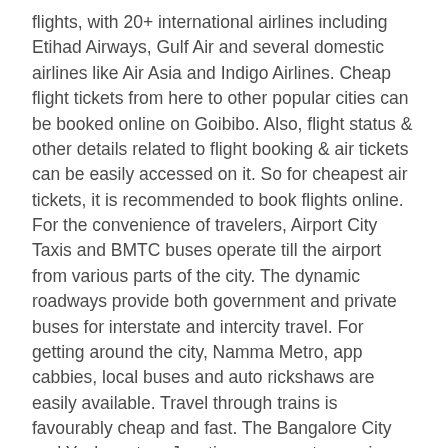flights, with 20+ international airlines including Etihad Airways, Gulf Air and several domestic airlines like Air Asia and Indigo Airlines. Cheap flight tickets from here to other popular cities can be booked online on Goibibo. Also, flight status & other details related to flight booking & air tickets can be easily accessed on it. So for cheapest air tickets, it is recommended to book flights online. For the convenience of travelers, Airport City Taxis and BMTC buses operate till the airport from various parts of the city. The dynamic roadways provide both government and private buses for interstate and intercity travel. For getting around the city, Namma Metro, app cabbies, local buses and auto rickshaws are easily available. Travel through trains is favourably cheap and fast. The Bangalore City and Yeshwantpur Junction serve as two main railway stations that welcome both local and long-distance.
Consistent air and noise pollution is a concern for many travelers and locals, however, the city has many escape routes such as parks and trees lined up on the roads. Do carry a pollution mask and a water bottle to tackle the distress in the big city.